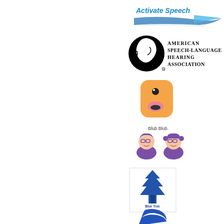[Figure (logo): Activate Speech logo with blue text and swoosh graphic]
[Figure (logo): American Speech-Language Hearing Association logo with black circular emblem and face profile with sound waves]
[Figure (logo): Blub Blub app logo - orange/yellow rounded B shape with eye and mouth]
Blub Blub
[Figure (logo): Purple cartoon illustration of two children characters with glasses]
[Figure (logo): Blue Tree Publishing logo with blue zigzag tree graphic and text]
[Figure (logo): Partial blue logo visible at bottom of page]